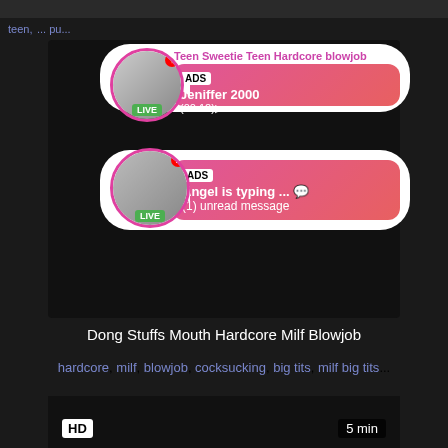teen, ... pu...
[Figure (screenshot): Ad notification popup showing 'Teen Sweetie Teen Hardcore blowjob' with avatar labeled LIVE, ADS badge, name Jeniffer 2000, timestamp (00:12)]
[Figure (screenshot): Ad notification popup with LIVE avatar, ADS badge, text 'Angel is typing ... ' and '(1) unread message']
HD
5 min
Dong Stuffs Mouth Hardcore Milf Blowjob
hardcore, milf, blowjob, cocksucking, big tits, milf big tits...